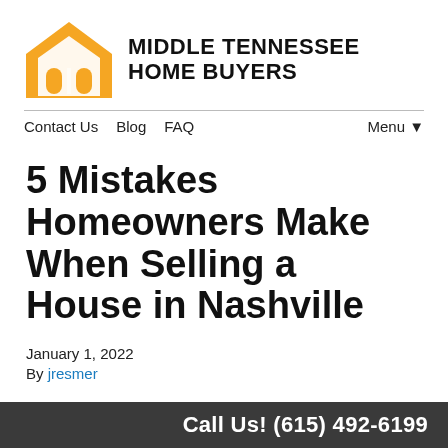[Figure (logo): Middle Tennessee Home Buyers logo with orange house icon and bold black text]
Contact Us  Blog  FAQ  Menu▼
5 Mistakes Homeowners Make When Selling a House in Nashville
January 1, 2022
By jresmer
Don't you want the most profit possible when you sell your home? Why settle for less when you could save…
Call Us! (615) 492-6199